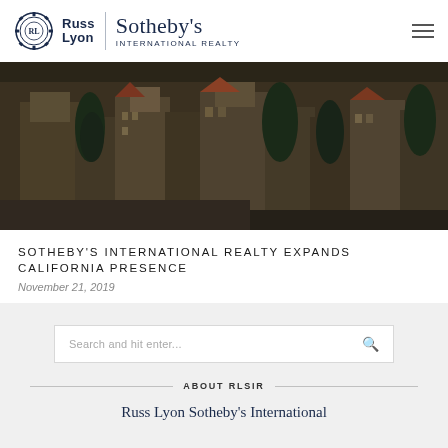Russ Lyon | Sotheby's International Realty
[Figure (photo): Aerial/street view of historic California buildings with Spanish-style architecture, red tile roofs, palm trees in the background, dark moody tone]
SOTHEBY'S INTERNATIONAL REALTY EXPANDS CALIFORNIA PRESENCE
November 21, 2019
Search and hit enter...
ABOUT RLSIR
Russ Lyon Sotheby's International